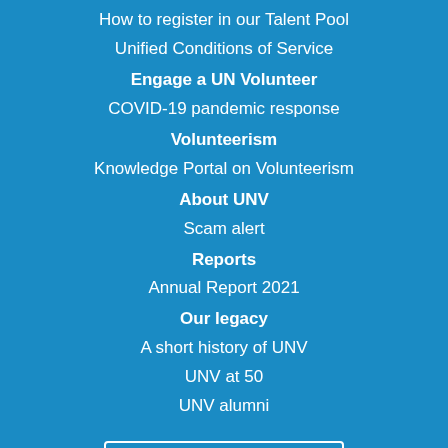How to register in our Talent Pool
Unified Conditions of Service
Engage a UN Volunteer
COVID-19 pandemic response
Volunteerism
Knowledge Portal on Volunteerism
About UNV
Scam alert
Reports
Annual Report 2021
Our legacy
A short history of UNV
UNV at 50
UNV alumni
My UNV Profile